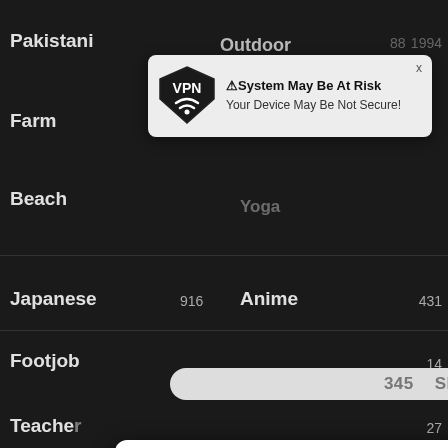[Figure (screenshot): Screenshot of a dark-themed adult content website with category listings, overlaid by two popup ads: a VPN security warning popup and a 'Looking For Packers And Movers Near Kansas...' ad popup with an image of movers carrying boxes.]
Pakistani
Farm
Beach
Japanese    916
Anime    431
Footjob    14
Teacher    27
Gym    6
Milk    29
Pregna    11
⚠System May Be At Risk
Your Device May Be Not Secure!
Looking For Packers And Movers Near Kansas...
a1h